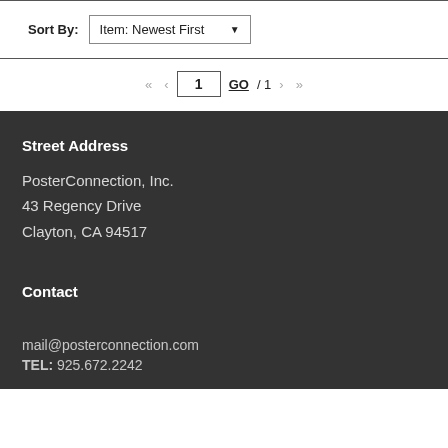Sort By: Item: Newest First
<< < 1 GO / 1 > >>
Street Address
PosterConnection, Inc.
43 Regency Drive
Clayton, CA 94517
Contact
mail@posterconnection.com
TEL: 925.672.2242